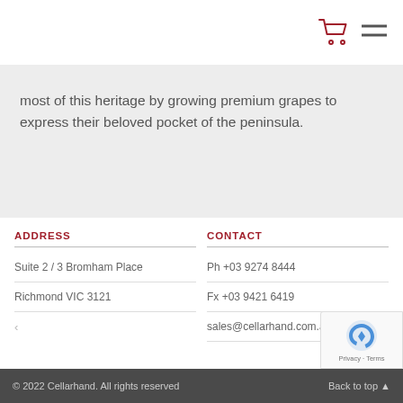[Figure (screenshot): Navigation bar with shopping cart icon and hamburger menu icon in dark red/maroon color]
most of this heritage by growing premium grapes to express their beloved pocket of the peninsula.
ADDRESS
Suite 2 / 3 Bromham Place
Richmond VIC 3121
CONTACT
Ph +03 9274 8444
Fx +03 9421 6419
sales@cellarhand.com.au
© 2022 Cellarhand. All rights reserved   Back to top